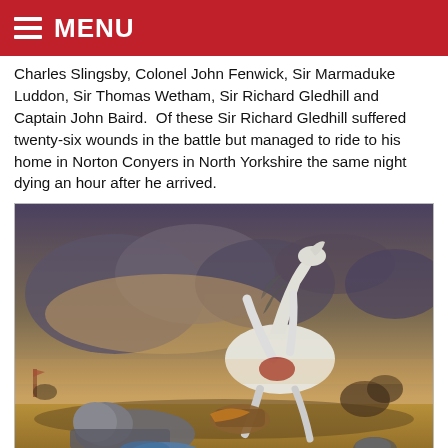MENU
Charles Slingsby, Colonel John Fenwick, Sir Marmaduke Luddon, Sir Thomas Wetham, Sir Richard Gledhill and Captain John Baird.  Of these Sir Richard Gledhill suffered twenty-six wounds in the battle but managed to ride to his home in Norton Conyers in North Yorkshire the same night dying an hour after he arrived.
[Figure (photo): Painting depicting the Death of Sir William Lambton at the Battle of Marston Moor — a white horse rearing dramatically, a fallen armoured knight on the ground, stormy battlefield scene.]
Death of Sir William Lambton at the Battle of Marston Moor on 2nd July 1644 in the English Civil War: picture by Richard Ansdell.